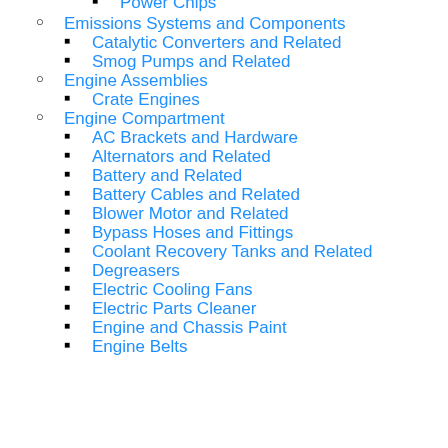Power Chips
Emissions Systems and Components
Catalytic Converters and Related
Smog Pumps and Related
Engine Assemblies
Crate Engines
Engine Compartment
AC Brackets and Hardware
Alternators and Related
Battery and Related
Battery Cables and Related
Blower Motor and Related
Bypass Hoses and Fittings
Coolant Recovery Tanks and Related
Degreasers
Electric Cooling Fans
Electric Parts Cleaner
Engine and Chassis Paint
Engine Belts